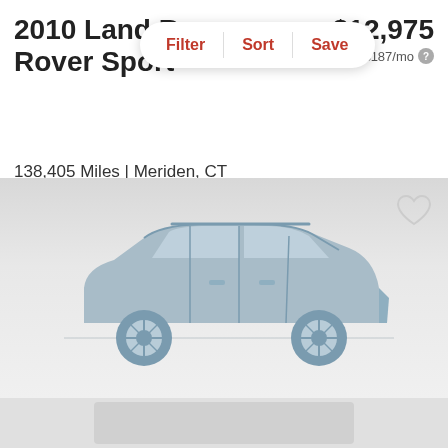2010 Land Rover Sport
$12,975
est. $187/mo
Filter  |  Sort  |  Save
138,405 Miles | Meriden, CT
Track Price    Check Availability
[Figure (illustration): Placeholder silhouette illustration of a Land Rover Sport SUV in muted steel-blue color on a gray gradient background, with a heart/favorite icon in the upper right corner.]